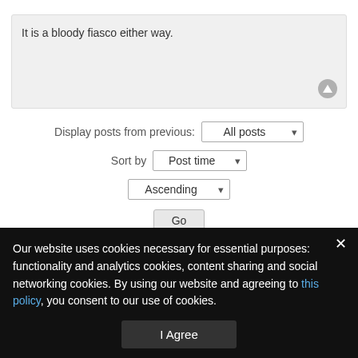It is a bloody fiasco either way.
Display posts from previous: All posts
Sort by Post time
Ascending
Go
Post Reply
19 posts • Page 1 of 1
Our website uses cookies necessary for essential purposes: functionality and analytics cookies, content sharing and social networking cookies. By using our website and agreeing to this policy, you consent to our use of cookies.
I Agree